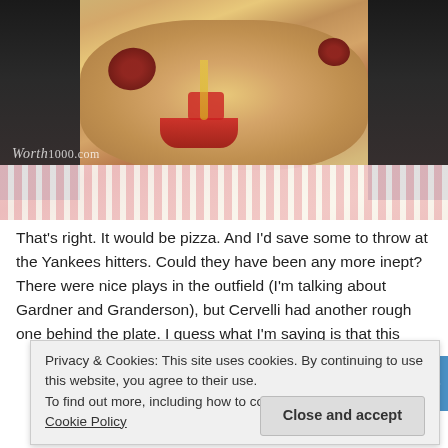[Figure (photo): A photo/digital composite showing a person's face covered in pizza toppings (cheese, sauce, pepperoni/sausage), wearing a pink striped shirt. Watermark reads 'Worth1000.com' in bottom left.]
That's right. It would be pizza. And I'd save some to throw at the Yankees hitters. Could they have been any more inept? There were nice plays in the outfield (I'm talking about Gardner and Granderson), but Cervelli had another rough one behind the plate. I guess what I'm saying is that this
Privacy & Cookies: This site uses cookies. By continuing to use this website, you agree to their use.
To find out more, including how to control cookies, see here: Cookie Policy
Close and accept